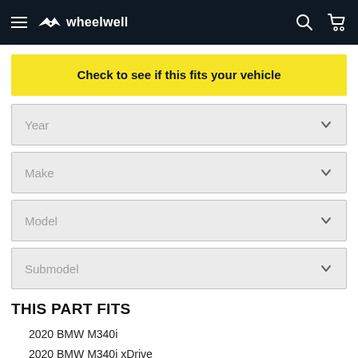wheelwell
Check to see if this fits your vehicle
Year
Make
Model
Submodel
THIS PART FITS
2020 BMW M340i
2020 BMW M340i xDrive